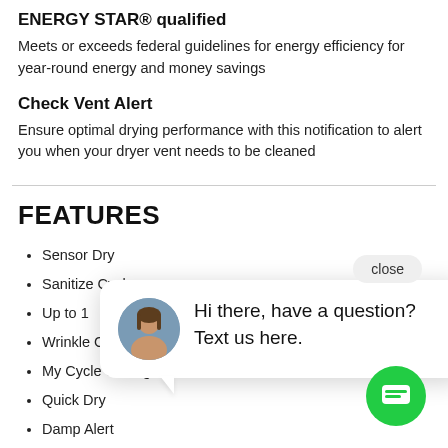ENERGY STAR® qualified
Meets or exceeds federal guidelines for energy efficiency for year-round energy and money savings
Check Vent Alert
Ensure optimal drying performance with this notification to alert you when your dryer vent needs to be cleaned
FEATURES
Sensor Dry
Sanitize Cycle
Up to [...]
Wrinkle Care
My Cycle Settings
Quick Dry
Damp Alert
Dry Level Options
Temperature Options
[Figure (screenshot): Chat popup overlay with avatar photo of a woman, text 'Hi there, have a question? Text us here.', a 'close' button, and a green chat icon button.]